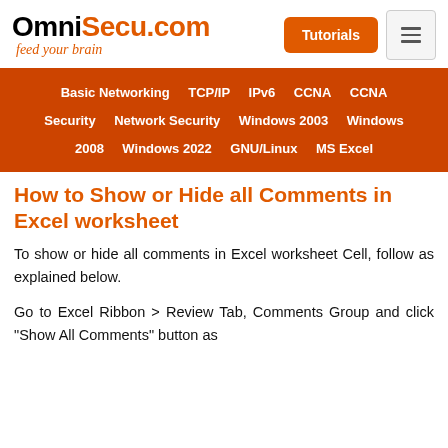OmniSecu.com feed your brain
Basic Networking  TCP/IP  IPv6  CCNA  CCNA Security  Network Security  Windows 2003  Windows 2008  Windows 2022  GNU/Linux  MS Excel
How to Show or Hide all Comments in Excel worksheet
To show or hide all comments in Excel worksheet Cell, follow as explained below.
Go to Excel Ribbon > Review Tab, Comments Group and click "Show All Comments" button as